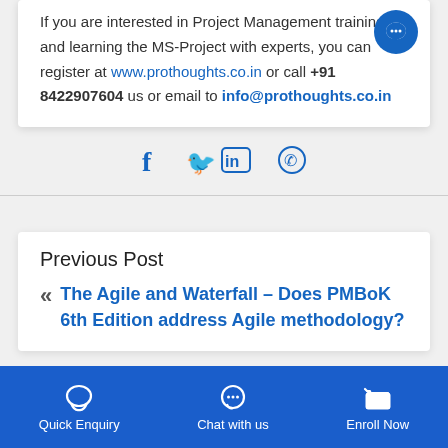If you are interested in Project Management training and learning the MS-Project with experts, you can register at www.prothoughts.co.in or call +91 8422907604 us or email to info@prothoughts.co.in
[Figure (other): Social share icons: Facebook, Twitter, LinkedIn, WhatsApp]
Previous Post
The Agile and Waterfall – Does PMBoK 6th Edition address Agile methodology?
[Figure (infographic): Blue footer bar with Quick Enquiry, Chat with us, and Enroll Now buttons with icons]